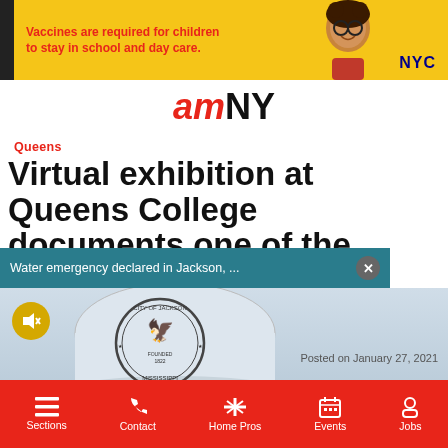[Figure (photo): NYC Health advertisement banner: yellow background with red text 'Vaccines are required for children to stay in school and day care.' with a child photo and NYC logo]
[Figure (logo): amNY logo - red italic 'am' followed by black bold 'NY']
Queens
Virtual exhibition at Queens College documents one of the world's most cherished Jewish
Water emergency declared in Jackson, ...
[Figure (photo): Photo of Jackson, Mississippi water tower with City of Jackson Mississippi seal/logo on it]
Posted on January 27, 2021
Sections  Contact  Home Pros  Events  Jobs